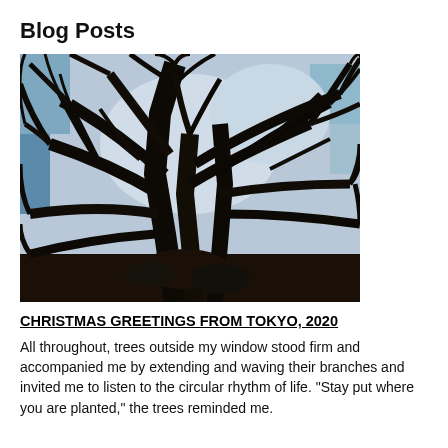Blog Posts
[Figure (photo): A black and white photograph looking upward through the bare, dark branches of a large tree against a light sky.]
CHRISTMAS GREETINGS FROM TOKYO, 2020
All throughout, trees outside my window stood firm and accompanied me by extending and waving their branches and invited me to listen to the circular rhythm of life. “Stay put where you are planted,” the trees reminded me.